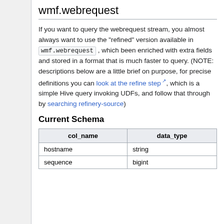wmf.webrequest
If you want to query the webrequest stream, you almost always want to use the "refined" version available in wmf.webrequest , which been enriched with extra fields and stored in a format that is much faster to query. (NOTE: descriptions below are a little brief on purpose, for precise definitions you can look at the refine step, which is a simple Hive query invoking UDFs, and follow that through by searching refinery-source)
Current Schema
| col_name | data_type |
| --- | --- |
| hostname | string |
| sequence | bigint |